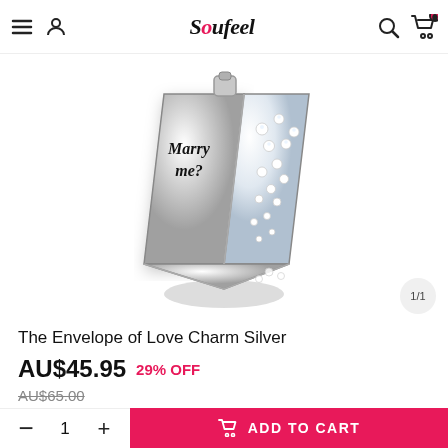Soufeel
[Figure (photo): A silver charm shaped like an envelope/diamond with 'Marry me?' text engraved and crystal/zirconia embellishments. The charm has a triangular faceted design with sparkly stones on one side and script text on the other side. Image counter shows 1/1.]
The Envelope of Love Charm Silver
AU$45.95  29% OFF
AU$65.00
+AU$8.99 For Quality Warranty For Extra 90 Days